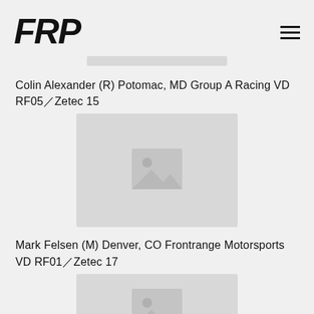FRP
[Figure (photo): Placeholder image bar at top]
Colin Alexander (R) Potomac, MD Group A Racing VD RF05/Zetec 15
[Figure (photo): Placeholder image for Colin Alexander entry]
Mark Felsen (M) Denver, CO Frontrange Motorsports VD RF01/Zetec 17
[Figure (photo): Placeholder image for Mark Felsen entry]